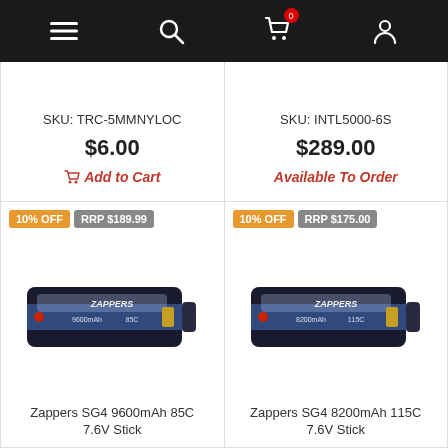Navigation bar with menu, search, cart (0 items), and account icons
SKU: TRC-5MMNYLOC
$6.00
Add to Cart
SKU: INTL5000-6S
$289.00
Available To Order
[Figure (photo): Zappers SG4 9600mAh 85C 7.6V Stick battery product photo with 10% OFF badge and RRP $189.99]
10% OFF
RRP $189.99
Zappers SG4 9600mAh 85C 7.6V Stick
[Figure (photo): Zappers SG4 8200mAh 115C 7.6V Stick battery product photo with 10% OFF badge and RRP $175.00]
10% OFF
RRP $175.00
Zappers SG4 8200mAh 115C 7.6V Stick